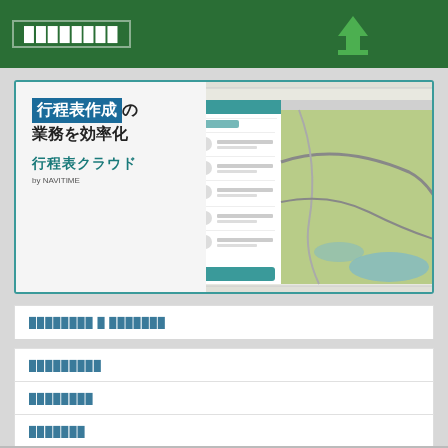████████
[Figure (screenshot): Advertisement banner for 行程表クラウド by NAVITIME showing text '行程表作成の業務を効率化 行程表クラウド by NAVITIME' on the left and a map/app screenshot on the right]
████████ █ ███████
█████████
████████
███████